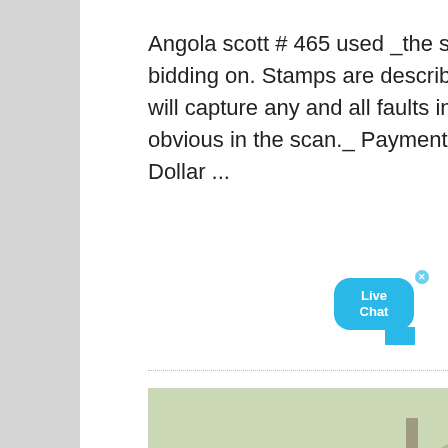Angola scott # 465 used _the stamp shown is the one you are bidding on. Stamps are described to the best of my ability, and i will capture any and all faults in the description that are not obvious in the scan._ Payment can be made in cash (u. S. Dollar ...
[Figure (photo): Industrial mining or crushing equipment — a large blue jaw crusher or stone crusher with conveyor belt at an industrial site, outdoor setting with brownish terrain and distant structures.]